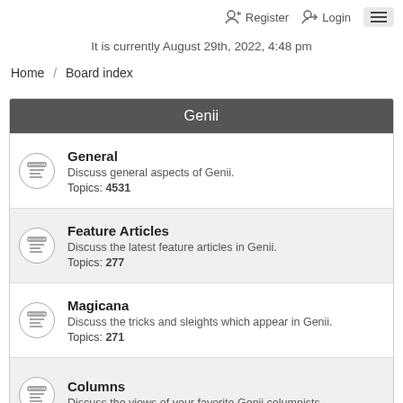Register  Login  ☰
It is currently August 29th, 2022, 4:48 pm
Home / Board index
Genii
General
Discuss general aspects of Genii.
Topics: 4531
Feature Articles
Discuss the latest feature articles in Genii.
Topics: 277
Magicana
Discuss the tricks and sleights which appear in Genii.
Topics: 271
Columns
Discuss the views of your favorite Genii columnists.